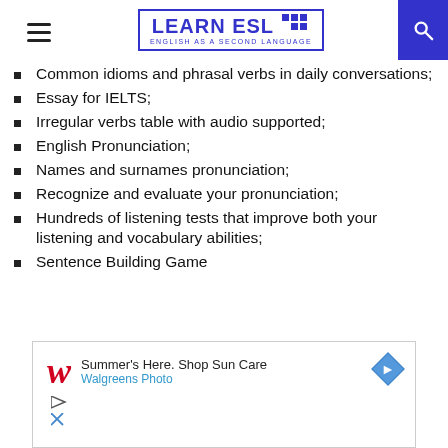LEARN ESL — English as a Second Language
Common idioms and phrasal verbs in daily conversations;
Essay for IELTS;
Irregular verbs table with audio supported;
English Pronunciation;
Names and surnames pronunciation;
Recognize and evaluate your pronunciation;
Hundreds of listening tests that improve both your listening and vocabulary abilities;
Sentence Building Game
[Figure (screenshot): Advertisement banner for Walgreens Photo: 'Summer's Here. Shop Sun Care' with Walgreens Photo branding and a blue diamond arrow icon.]